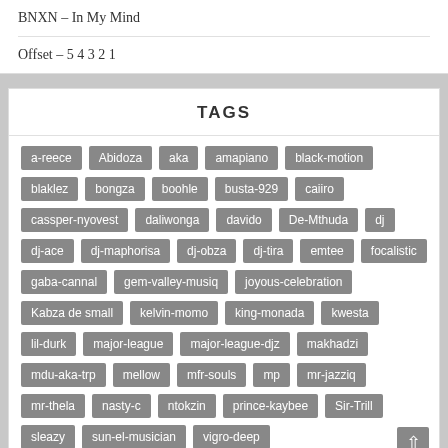BNXN – In My Mind
Offset – 5 4 3 2 1
TAGS
a-reece, Abidoza, aka, amapiano, black-motion, blaklez, bongza, boohle, busta-929, caiiro, cassper-nyovest, daliwonga, davido, De-Mthuda, dj, dj-ace, dj-maphorisa, dj-obza, dj-tira, emtee, focalistic, gaba-cannal, gem-valley-musiq, joyous-celebration, Kabza de small, kelvin-momo, king-monada, kwesta, lil-durk, major-league, major-league-djz, makhadzi, mdu-aka-trp, mellow, mfr-souls, mp, mr-jazziq, mr-thela, nasty-c, ntokzin, prince-kaybee, Sir-Trill, sleazy, sun-el-musician, vigro-deep